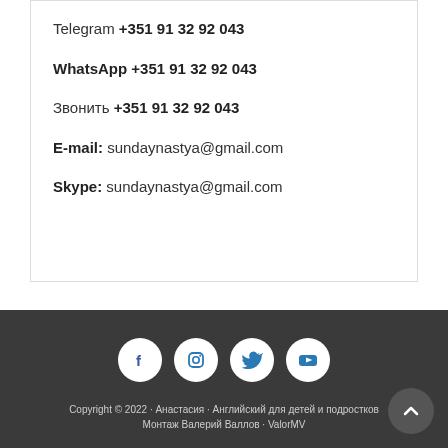Telegram +351 91 32 92 043
WhatsApp +351 91 32 92 043
Звонить +351 91 32 92 043
E-mail: sundaynastya@gmail.com
Skype: sundaynastya@gmail.com
[Figure (other): Social media icons: Facebook, Instagram, Twitter, YouTube in white circles on dark background]
Copyright © 2022 · Анастасия · Английский для детей и подростков · Монтаж Валерий Валлов · ValorMV